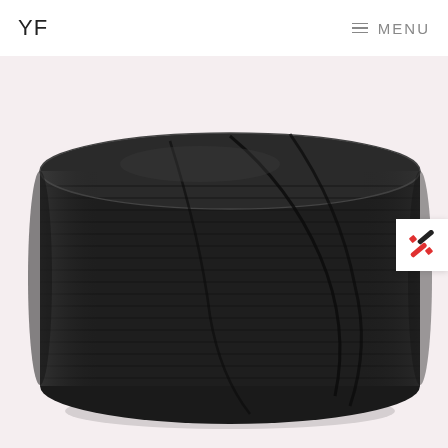YF  MENU
[Figure (photo): A large spool/roll of black woven cord or ribbon tape wound tightly around a cylindrical bobbin, photographed on a pink-white background. A small white badge with a phone icon is visible on the right side.]